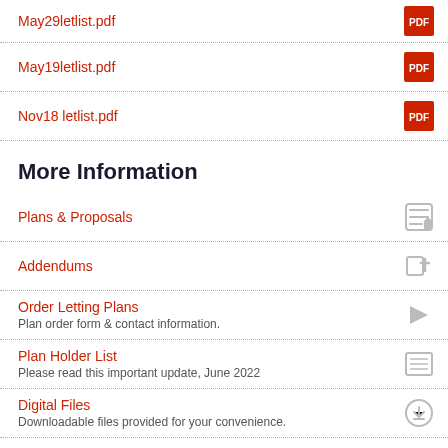May29letlist.pdf
May19letlist.pdf
Nov18 letlist.pdf
More Information
Plans & Proposals
Addendums
Order Letting Plans
Plan order form & contact information.
Plan Holder List
Please read this important update, June 2022
Digital Files
Downloadable files provided for your convenience.
Understandng Digital Files Delivered